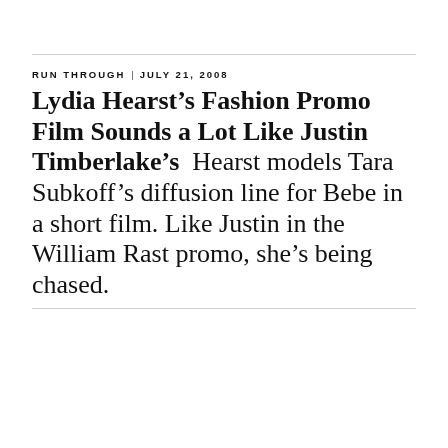RUN THROUGH | JULY 21, 2008
Lydia Hearst's Fashion Promo Film Sounds a Lot Like Justin Timberlake's Hearst models Tara Subkoff's diffusion line for Bebe in a short film. Like Justin in the William Rast promo, she's being chased.